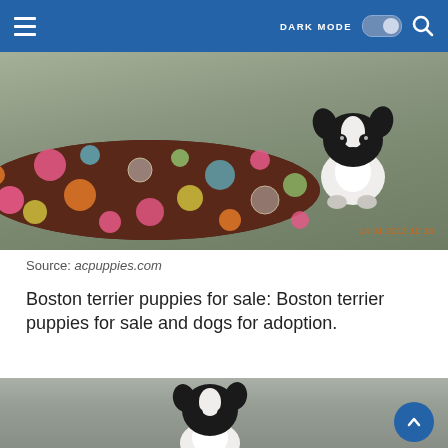DARK MODE
[Figure (photo): A black and white Boston Terrier puppy sitting on a round brown polka-dot pet bed/pillow. The puppy looks directly at the camera. Timestamp reads 14 01 2013 10 16 in orange text at bottom right.]
Source: acpuppies.com
Boston terrier puppies for sale: Boston terrier puppies for sale and dogs for adoption.
[Figure (photo): A black and white Boston Terrier puppy photographed against a grey/beige concrete wall background. A blue circular scroll-to-top button is visible in the bottom right corner.]